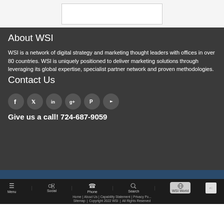[Figure (other): White box/form element at top of page]
About WSI
WSI is a network of digital strategy and marketing thought leaders with offices in over 80 countries. WSI is uniquely positioned to deliver marketing solutions through leveraging its global expertise, specialist partner network and proven methodologies.
Contact Us
[Figure (other): Social media icons: Facebook, Twitter, LinkedIn, Google+, Pinterest, YouTube]
Give us a call! 724-687-9059
Home | About Us | Capability Statement | Privacy Policy | Sitemap | Copyright 2022 WSI | All Rights Reserved